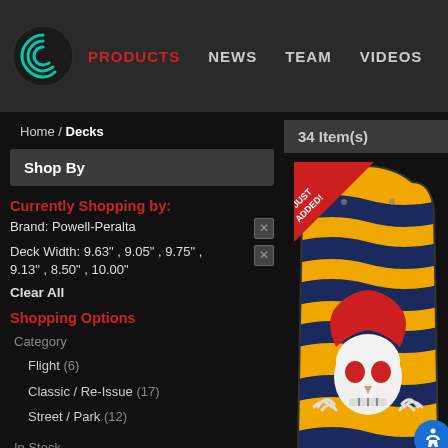PRODUCTS  NEWS  TEAM  VIDEOS  TESTIMON
Home / Decks
Shop By
Currently Shopping by:
Brand: Powell-Peralta  ×
Deck Width: 9.63" , 9.05" , 9.75" , 9.13" , 8.50" , 10.00"  ×
Clear All
Shopping Options
Category
Flight (6)
Classic / Re-Issue (17)
Street / Park (12)
In Stock
Yes (32)
34 Item(s)
[Figure (photo): Powell-Peralta skateboard deck with yellow and dark blue wavy stripes and a Ripper skull graphic. Has a red 'JUST ADDED!' banner in the top left corner.]